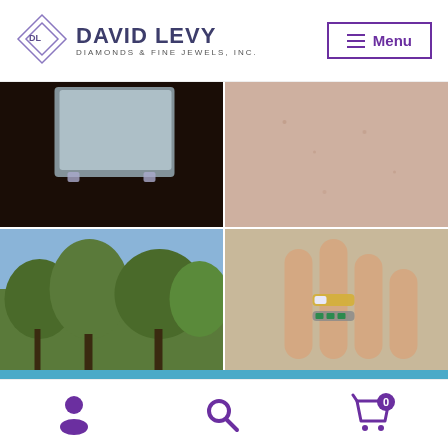[Figure (logo): David Levy Diamonds & Fine Jewels, Inc. logo with diamond shape and menu button]
[Figure (photo): Four-panel image grid: top-left dark box on dark surface, top-right skin/neck close-up, bottom-left trees against sky, bottom-right hands wearing diamond and emerald rings]
ℹ This is an example of a sitewide notice - you can change or remove this text in the Customizer under "Store Notice"
Dismiss